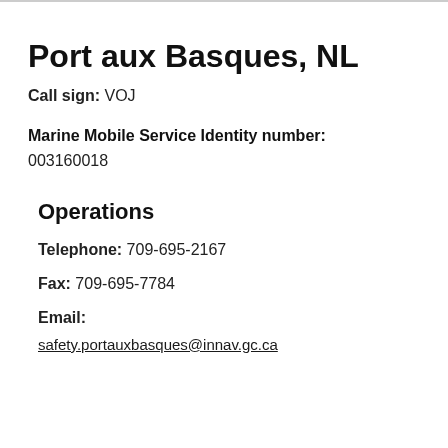Port aux Basques, NL
Call sign: VOJ
Marine Mobile Service Identity number: 003160018
Operations
Telephone: 709-695-2167
Fax: 709-695-7784
Email:
safety.portauxbasques@innav.gc.ca